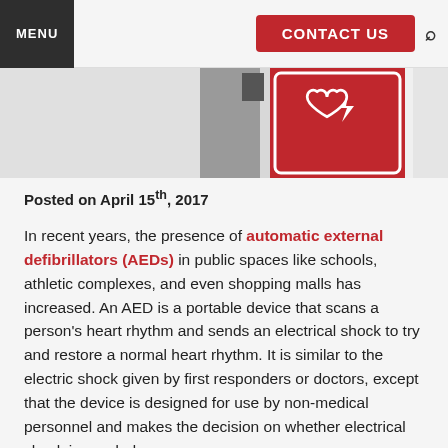MENU   CONTACT US
[Figure (photo): Partial view of an AED (Automatic External Defibrillator) device mounted on a wall, showing a red AED cabinet with a heart and lightning bolt symbol.]
Posted on April 15th, 2017
In recent years, the presence of automatic external defibrillators (AEDs) in public spaces like schools, athletic complexes, and even shopping malls has increased. An AED is a portable device that scans a person's heart rhythm and sends an electrical shock to try and restore a normal heart rhythm. It is similar to the electric shock given by first responders or doctors, except that the device is designed for use by non-medical personnel and makes the decision on whether electrical shock is needed.
When a person collapses and is completely unresponsive, it